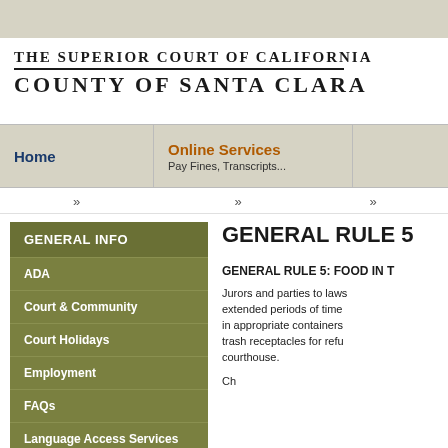[Figure (screenshot): Top banner gray strip]
THE SUPERIOR COURT OF CALIFORNIA
COUNTY OF SANTA CLARA
Home
Online Services
Pay Fines, Transcripts...
»
»
»
GENERAL INFO
ADA
Court & Community
Court Holidays
Employment
FAQs
Language Access Services
GENERAL RULE 5
GENERAL RULE 5: FOOD IN T
Jurors and parties to laws extended periods of time in appropriate containers trash receptacles for ref courthouse.